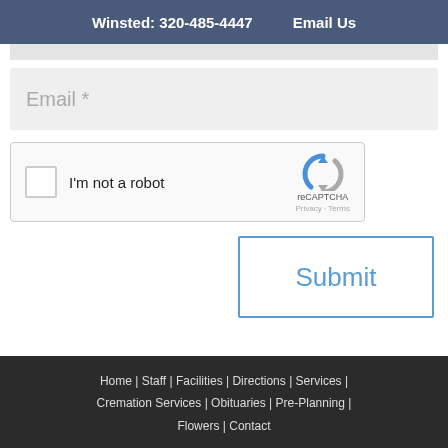Winsted: 320-485-4447    Email Us
Email *
[Figure (screenshot): reCAPTCHA widget with checkbox labeled 'I'm not a robot', reCAPTCHA logo, Privacy and Terms links]
Submit
Home | Staff | Facilities | Directions | Services | Cremation Services | Obituaries | Pre-Planning | Flowers | Contact